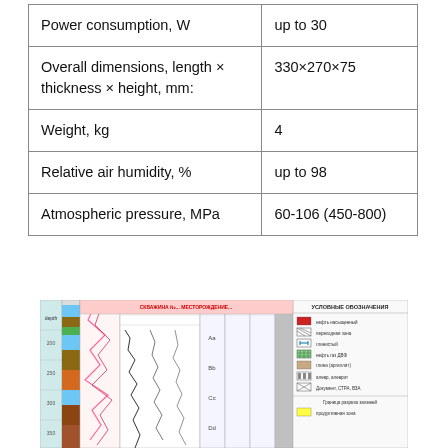| Parameter | Value |
| --- | --- |
| Power consumption, W | up to 30 |
| Overall dimensions, length × thickness × height, mm: | 330×270×75 |
| Weight, kg | 4 |
| Relative air humidity, % | up to 98 |
| Atmospheric pressure, MPa | 60-106 (450-800) |
[Figure (engineering-diagram): Engineering/geological diagram or well log chart with multiple columns showing lithology, curves, and legend with Russian text labels. Contains colored sections, log curves, and a legend panel on the right side.]